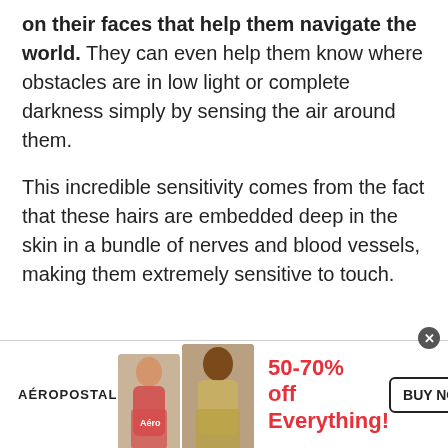on their faces that help them navigate the world. They can even help them know where obstacles are in low light or complete darkness simply by sensing the air around them.
This incredible sensitivity comes from the fact that these hairs are embedded deep in the skin in a bundle of nerves and blood vessels, making them extremely sensitive to touch.
[Figure (other): Aeropostale advertisement banner with two female models wearing casual clothing, text reading '50-70% off Everything!' in red and a 'BUY NOW' button]